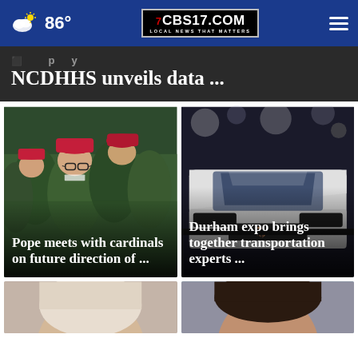86° CBS17.COM LOCAL NEWS THAT MATTERS
NCDHHS unveils data ...
[Figure (photo): Cardinals in green robes and red hats gathered together]
Pope meets with cardinals on future direction of ...
[Figure (photo): White Ford Mustang Mach-E front end closeup]
Durham expo brings together transportation experts ...
[Figure (photo): Partial photo of a person's head at bottom left]
[Figure (photo): Partial photo of a person's head at bottom right]